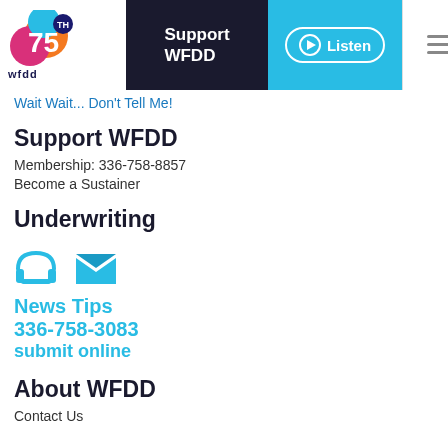[Figure (logo): WFDD 75th anniversary logo with colorful overlapping circles, text wfdd below]
Support WFDD  Listen
Wait Wait... Don't Tell Me!
Support WFDD
Membership: 336-758-8857
Become a Sustainer
Underwriting
[Figure (illustration): Blue phone icon and blue envelope/mail icon]
News Tips
336-758-3083
submit online
About WFDD
Contact Us